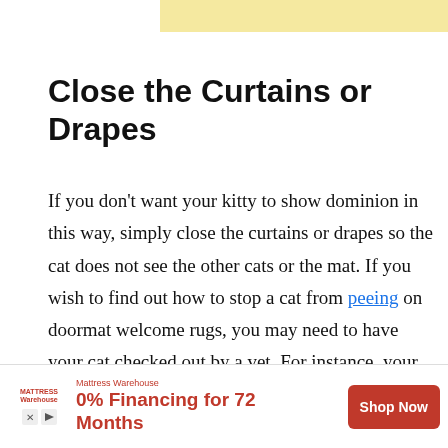[Figure (other): Yellow/cream colored advertisement banner at the top of the page]
Close the Curtains or Drapes
If you don't want your kitty to show dominion in this way, simply close the curtains or drapes so the cat does not see the other cats or the mat. If you wish to find out how to stop a cat from peeing on doormat welcome rugs, you may need to have your cat checked out by a vet. For instance, your veterinarian may find that your cat is suffering from a urinary tract infection. When a cat is
[Figure (other): Mattress Warehouse advertisement banner at the bottom. Shows logo, '0% Financing for 72 Months' text in red, and a red 'Shop Now' button.]